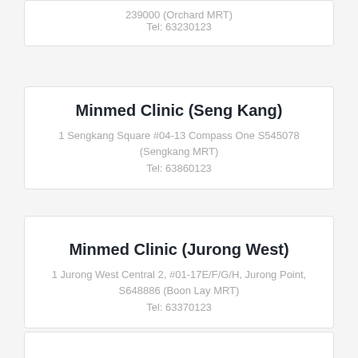239000 (Orchard MRT)
Tel: 63230123
Minmed Clinic (Seng Kang)
1 Sengkang Square #04-13 Compass One S545078 (Sengkang MRT)
Tel: 63860123
Minmed Clinic (Jurong West)
1 Jurong West Central 2, #01-17E/F/G/H, Jurong Point, S648886 (Boon Lay MRT)
Tel: 63370123